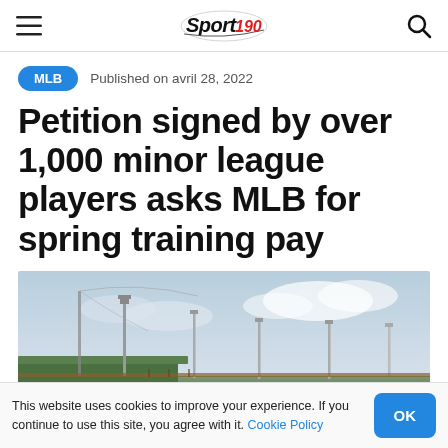Sport 190 — hamburger menu, logo, search icon
MLB   Published on avril 28, 2022
Petition signed by over 1,000 minor league players asks MLB for spring training pay
[Figure (photo): Exterior view of a minor league baseball stadium with netting, light poles, and green roof structure against a cloudy sky]
This website uses cookies to improve your experience. If you continue to use this site, you agree with it. Cookie Policy